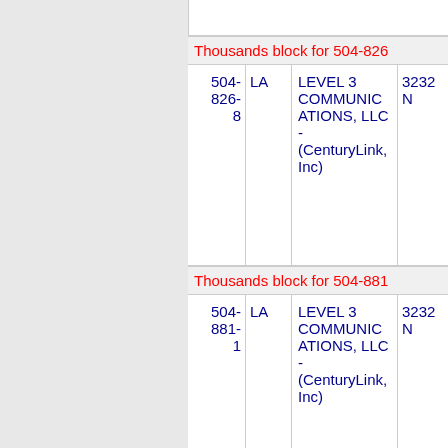Thousands block for 504-826
| Number | State | Company | Code |
| --- | --- | --- | --- |
| 504-
826-
8 | LA | LEVEL 3 COMMUNICATIONS, LLC - (CenturyLink, Inc) | 3232 N |
Thousands block for 504-881
| Number | State | Company | Code |
| --- | --- | --- | --- |
| 504-
881-
1 | LA | LEVEL 3 COMMUNICATIONS, LLC - (CenturyLink, Inc) | 3232 N |